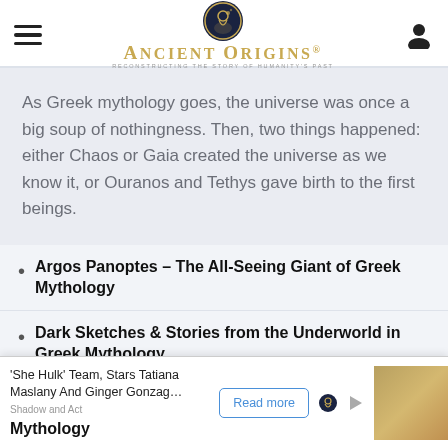Ancient Origins — Reconstructing the Story of Humanity's Past
As Greek mythology goes, the universe was once a big soup of nothingness. Then, two things happened: either Chaos or Gaia created the universe as we know it, or Ouranos and Tethys gave birth to the first beings.
Argos Panoptes – The All-Seeing Giant of Greek Mythology
Dark Sketches & Stories from the Underworld in Greek Mythology
Greek Goddess Rhea: Mother of the Gods & Queen of the Titans
The Lamia of Ancient Greek Mythology: The Shadow and Art ... reek Mythology